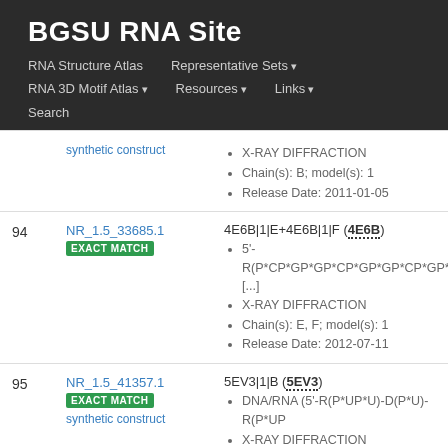BGSU RNA Site
RNA Structure Atlas | Representative Sets ▾ | RNA 3D Motif Atlas ▾ | Resources ▾ | Links ▾ | Search
| # | ID | Details |
| --- | --- | --- |
|  | synthetic construct | X-RAY DIFFRACTION
Chain(s): B; model(s): 1
Release Date: 2011-01-05 |
| 94 | NR_1.5_33685.1
EXACT MATCH | 4E6B|1|E+4E6B|1|F (4E6B)
5'-R(P*CP*GP*GP*CP*GP*GP*CP*GP*G
[...]
X-RAY DIFFRACTION
Chain(s): E, F; model(s): 1
Release Date: 2012-07-11 |
| 95 | NR_1.5_41357.1
EXACT MATCH
synthetic construct | 5EV3|1|B (5EV3)
DNA/RNA (5'-R(P*UP*U)-D(P*U)-R(P*UP
X-RAY DIFFRACTION
Chain(s): B; model(s): 1 |